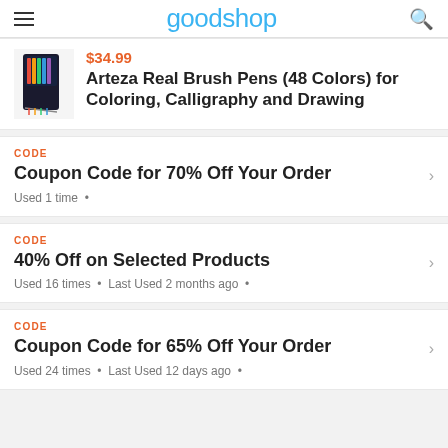goodshop
$34.99 Arteza Real Brush Pens (48 Colors) for Coloring, Calligraphy and Drawing
CODE
Coupon Code for 70% Off Your Order
Used 1 time •
CODE
40% Off on Selected Products
Used 16 times • Last Used 2 months ago •
CODE
Coupon Code for 65% Off Your Order
Used 24 times • Last Used 12 days ago •